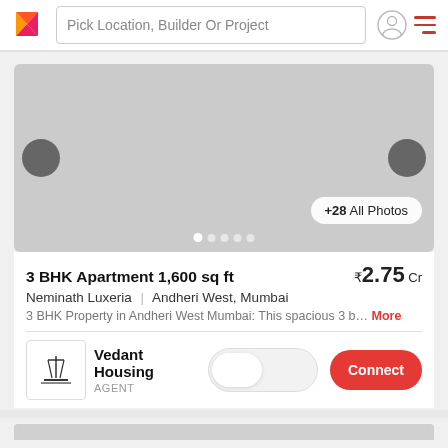Pick Location, Builder Or Project
[Figure (photo): Real estate listing image carousel showing a gray placeholder image with left and right navigation arrows and dot indicators. Shows '+28 All Photos' button.]
3 BHK Apartment 1,600 sq ft
₹2.75 Cr
Neminath Luxeria | Andheri West, Mumbai
3 BHK Property in Andheri West Mumbai: This spacious 3 b... More
Vedant Housing
AGENT
Connect